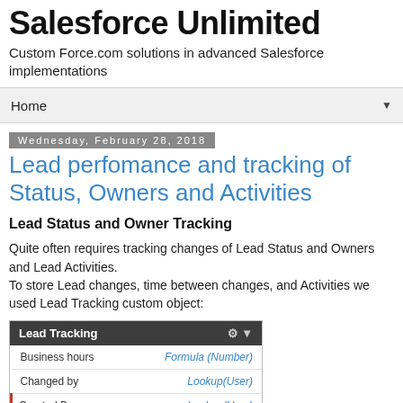Salesforce Unlimited
Custom Force.com solutions in advanced Salesforce implementations
Home
Wednesday, February 28, 2018
Lead perfomance and tracking of Status, Owners and Activities
Lead Status and Owner Tracking
Quite often requires tracking changes of Lead Status and Owners and Lead Activities.
To store Lead changes, time between changes, and Activities we used Lead Tracking custom object:
[Figure (screenshot): Salesforce Lead Tracking custom object panel showing fields: Business hours (Formula Number), Changed by (Lookup(User)), Created By (Lookup(User))]